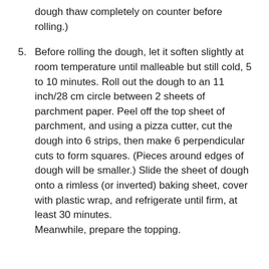dough thaw completely on counter before rolling.)
5. Before rolling the dough, let it soften slightly at room temperature until malleable but still cold, 5 to 10 minutes. Roll out the dough to an 11 inch/28 cm circle between 2 sheets of parchment paper. Peel off the top sheet of parchment, and using a pizza cutter, cut the dough into 6 strips, then make 6 perpendicular cuts to form squares. (Pieces around edges of dough will be smaller.) Slide the sheet of dough onto a rimless (or inverted) baking sheet, cover with plastic wrap, and refrigerate until firm, at least 30 minutes.
Meanwhile, prepare the topping.